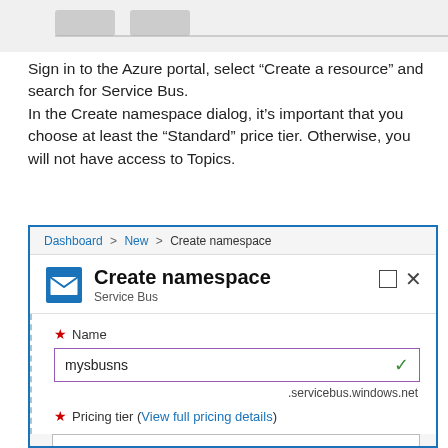[Figure (screenshot): Partial screenshot showing browser buttons/tabs at top of page, cropped]
Sign in to the Azure portal, select “Create a resource” and search for Service Bus.
In the Create namespace dialog, it’s important that you choose at least the “Standard” price tier. Otherwise, you will not have access to Topics.
[Figure (screenshot): Azure portal screenshot showing 'Create namespace' dialog for Service Bus. Breadcrumb: Dashboard > New > Create namespace. Icon with envelope, title 'Create namespace', subtitle 'Service Bus'. Form field: Name = mysbusns with green checkmark, .servicebus.windows.net suffix shown. Pricing tier field label visible with 'View full pricing details' link.]